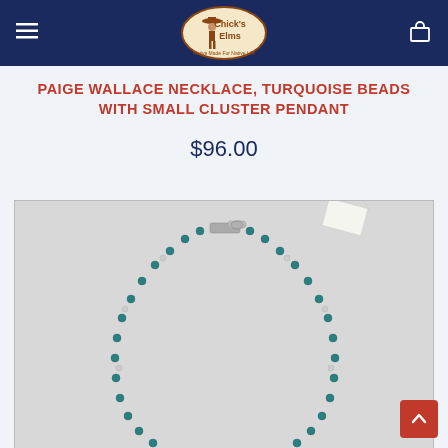[Figure (logo): Chick's Elms store logo — illustrated cowboy figure with circular badge text]
PAIGE WALLACE NECKLACE, TURQUOISE BEADS WITH SMALL CLUSTER PENDANT
$96.00
[Figure (photo): Photo of a turquoise bead necklace with a silver lobster-claw clasp and small cluster pendant, shown in a circular arrangement on a white background]